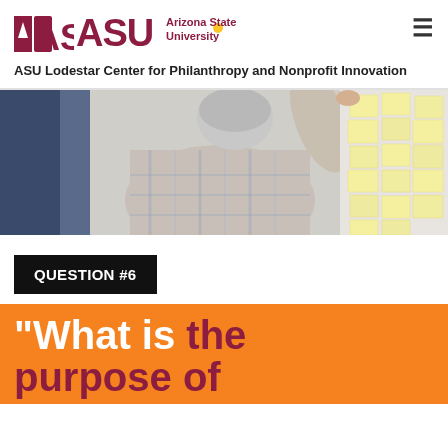ASU Arizona State University
ASU Lodestar Center for Philanthropy and Nonprofit Innovation
[Figure (photo): Person in plaid shirt posting sticky notes on a wall board, with other people in the background]
QUESTION #6
"What is the purpose of